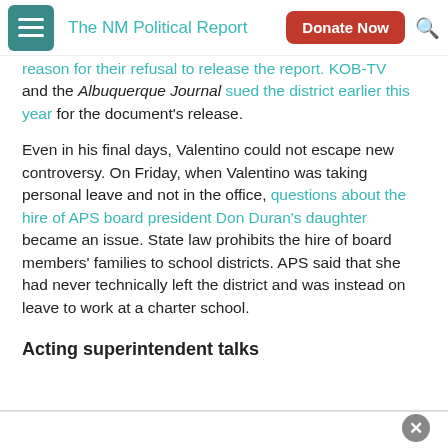The NM Political Report | Donate Now
reason for their refusal to release the report. KOB-TV and the Albuquerque Journal sued the district earlier this year for the document's release.
Even in his final days, Valentino could not escape new controversy. On Friday, when Valentino was taking personal leave and not in the office, questions about the hire of APS board president Don Duran's daughter became an issue. State law prohibits the hire of board members' families to school districts. APS said that she had never technically left the district and was instead on leave to work at a charter school.
Acting superintendent talks